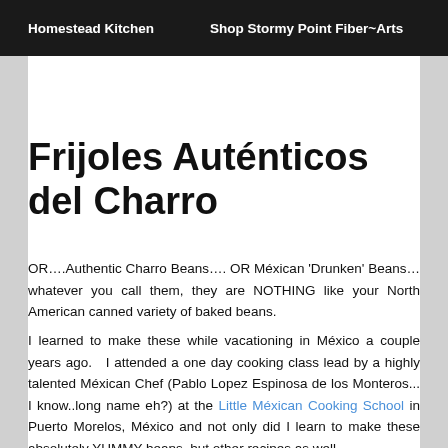Homestead Kitchen    Shop Stormy Point Fiber~Arts
Frijoles Auténticos del Charro
OR….Authentic Charro Beans…. OR Méxican 'Drunken' Beans…whatever you call them, they are NOTHING like your North American canned variety of baked beans.
I learned to make these while vacationing in México a couple years ago.   I attended a one day cooking class lead by a highly talented Méxican Chef (Pablo Lopez Espinosa de los Monteros... I know..long name eh?) at the Little Méxican Cooking School in Puerto Morelos, México and not only did I learn to make these absolutely YUMMY beans, but other recipes as well